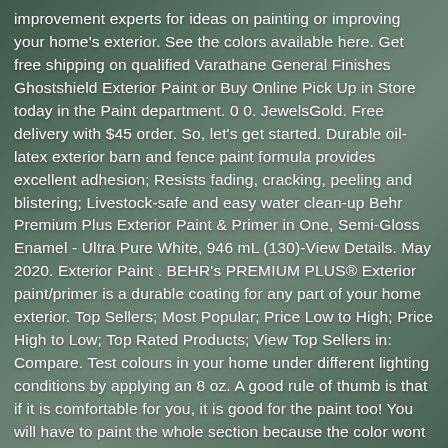improvement experts for ideas on painting or improving your home's exterior. See the colors available here. Get free shipping on qualified Varathane General Finishes Ghostshield Exterior Paint or Buy Online Pick Up in Store today in the Paint department. 0 0. JewelsGold. Free delivery with $45 order. So, let's get started. Durable oil-latex exterior barn and fence paint formula provides excellent adhesion; Resists fading, cracking, peeling and blistering; Livestock-safe and easy water clean-up Behr Premium Plus Exterior Paint & Primer in One, Semi-Gloss Enamel - Ultra Pure White, 946 mL (130)-View Details. May 2020. Exterior Paint . BEHR's PREMIUM PLUS® Exterior paint/primer is a durable coating for any part of your home exterior. Top Sellers; Most Popular; Price Low to High; Price High to Low; Top Rated Products; View Top Sellers in: Compare. Test colours in your home under different lighting conditions by applying an 8 oz. A good rule of thumb is that if it is comfortable for you, it is good for the paint too! You will have to paint the whole section because the color wont be exact. The original beige-tan color of our home felt so blah and, as I said, got lost behind the big tree. 97 / each. What seemed like a daunting task was made so much easier than I ever could have imagine! Glidden offers a variety of high quality exterior paints and exterior paint & primer that is perfect for you next exterior painting project. Get free shipping on qualified black exterior paint or buy online pick up in store today in the paint department. A dryer vent cover that might have got paint on it. Click the link below and get directions to your closest Sherwin-Williams store. Thankfully, picking the right one for your project is easy once
[Figure (photo): Background photo of a person painting, overlaid with semi-transparent dark green tint, with white text about exterior paint products layered on top.]